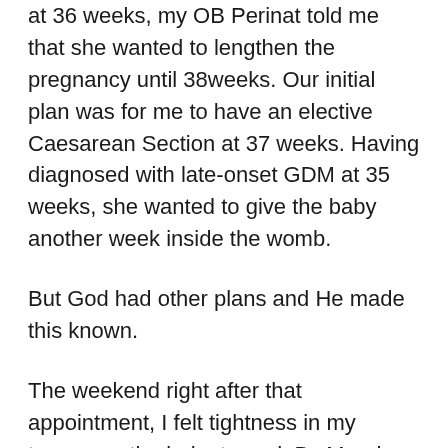at 36 weeks, my OB Perinat told me that she wanted to lengthen the pregnancy until 38weeks. Our initial plan was for me to have an elective Caesarean Section at 37 weeks. Having diagnosed with late-onset GDM at 35 weeks, she wanted to give the baby another week inside the womb.
But God had other plans and He made this known.
The weekend right after that appointment, I felt tightness in my tummy as the baby turned. By Monday morning, I felt fetal hiccups longer than I had experienced. Fetal hiccups is usually caused when there is a compression in the umbilical cord